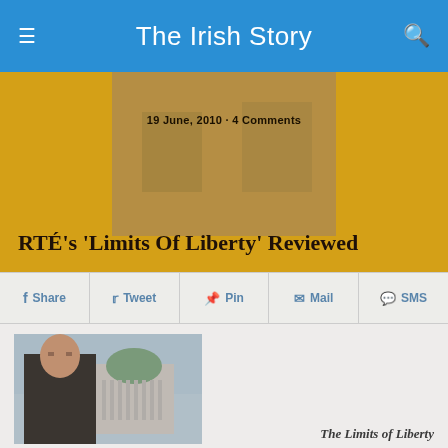The Irish Story
19 June, 2010 · 4 Comments
RTÉ's 'Limits Of Liberty' Reviewed
Share
Tweet
Pin
Mail
SMS
[Figure (photo): Man standing in front of a domed building (Four Courts, Dublin)]
The Limits of Liberty